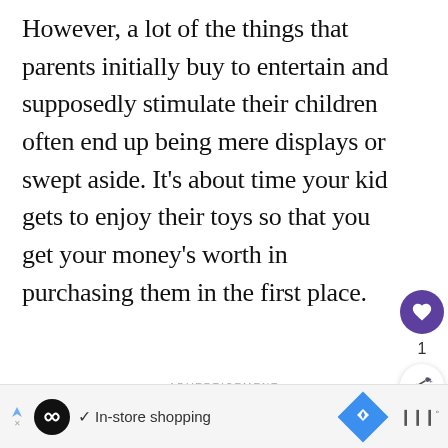However, a lot of the things that parents initially buy to entertain and supposedly stimulate their children often end up being mere displays or swept aside. It's about time your kid gets to enjoy their toys so that you get your money's worth in purchasing them in the first place.
ADVERTISEMENT
[Figure (screenshot): WHAT'S NEXT arrow, Your Guide On How To Trav... with circular thumbnail]
[Figure (screenshot): Ad bar with infinite icon, checkmark, In-store shopping text, blue diamond navigation icon, and bar chart icon]